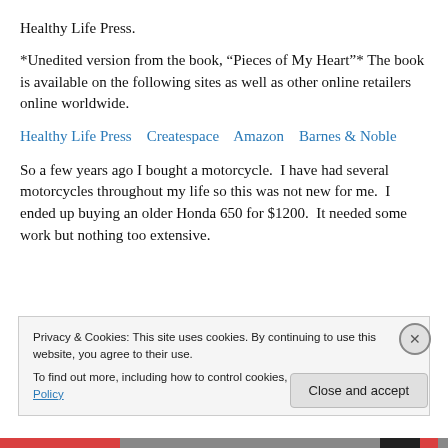Healthy Life Press.
*Unedited version from the book, “Pieces of My Heart”* The book is available on the following sites as well as other online retailers online worldwide.
Healthy Life Press    Createspace    Amazon    Barnes & Noble
So a few years ago I bought a motorcycle.  I have had several motorcycles throughout my life so this was not new for me.  I ended up buying an older Honda 650 for $1200.  It needed some work but nothing too extensive.
Privacy & Cookies: This site uses cookies. By continuing to use this website, you agree to their use.
To find out more, including how to control cookies, see here: Cookie Policy
Close and accept